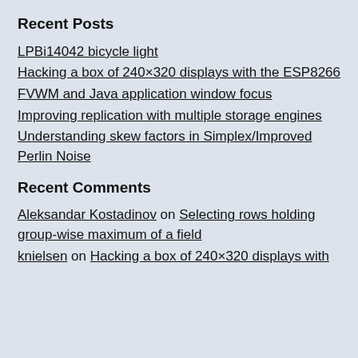Recent Posts
LPBi14042 bicycle light
Hacking a box of 240×320 displays with the ESP8266
FVWM and Java application window focus
Improving replication with multiple storage engines
Understanding skew factors in Simplex/Improved Perlin Noise
Recent Comments
Aleksandar Kostadinov on Selecting rows holding group-wise maximum of a field
knielsen on Hacking a box of 240×320 displays with